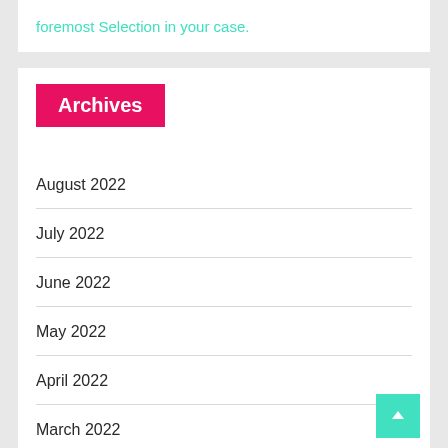foremost Selection in your case.
Archives
August 2022
July 2022
June 2022
May 2022
April 2022
March 2022